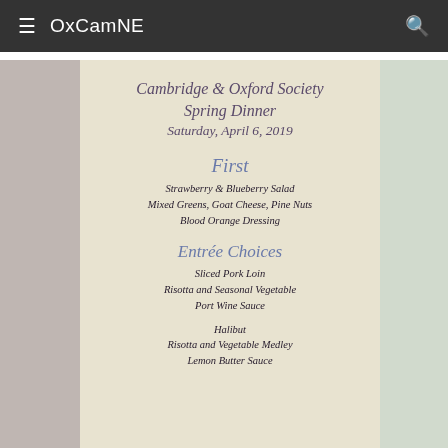≡  OxCamNE  🔍
[Figure (photo): A photograph of a dinner menu card for the Cambridge & Oxford Society Spring Dinner, Saturday April 6 2019, placed on a table set for a formal dinner. The card lists First course: Strawberry & Blueberry Salad, Mixed Greens, Goat Cheese, Pine Nuts, Blood Orange Dressing; Entrée Choices: Sliced Pork Loin, Risotta and Seasonal Vegetable, Port Wine Sauce; Halibut, Risotta and Vegetable Medley, Lemon Butter Sauce.]
Cambridge & Oxford Society Spring Dinner Saturday, April 6, 2019
First
Strawberry & Blueberry Salad
Mixed Greens, Goat Cheese, Pine Nuts
Blood Orange Dressing
Entrée Choices
Sliced Pork Loin
Risotta and Seasonal Vegetable
Port Wine Sauce
Halibut
Risotta and Vegetable Medley
Lemon Butter Sauce